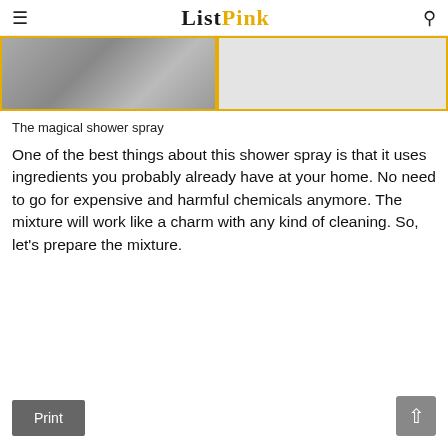ListPink
[Figure (photo): A before-and-after style split image with a yellow border: left half shows a dark/dirty surface, right half shows a clean/light surface, divided by a yellow vertical line.]
The magical shower spray
One of the best things about this shower spray is that it uses ingredients you probably already have at your home. No need to go for expensive and harmful chemicals anymore. The mixture will work like a charm with any kind of cleaning. So, let’s prepare the mixture.